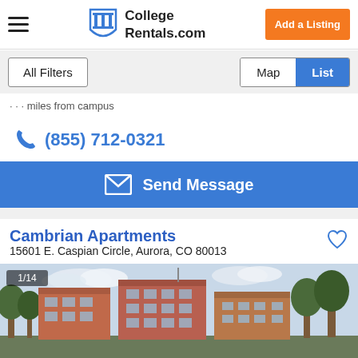CollegeRentals.com — Add a Listing
All Filters | Map | List
miles from campus
(855) 712-0321
Send Message
Cambrian Apartments
15601 E. Caspian Circle, Aurora, CO 80013
[Figure (photo): Exterior photo of Cambrian Apartments, a multi-story brick apartment complex with trees, labeled 1/14]